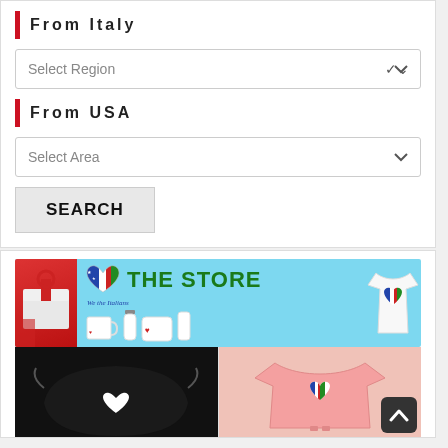From Italy
Select Region
From USA
Select Area
SEARCH
[Figure (illustration): We the Italians store banner with Italian-American flag heart logo, mugs, pillow, bottle, and t-shirt products on light blue background]
[Figure (photo): Black face mask with Italian-American heart logo]
[Figure (photo): Pink baby onesie with Italian-American heart logo]